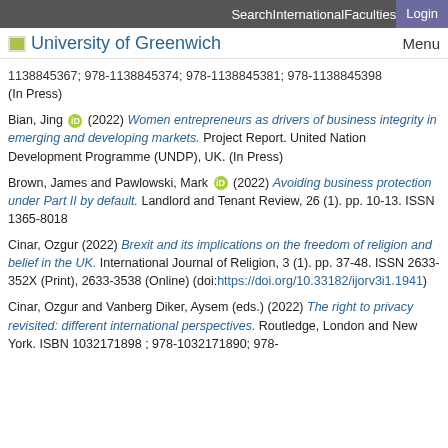Search  International  Faculties  Login
University of Greenwich  Menu
1138845367; 978-1138845374; 978-1138845381; 978-1138845398 (In Press)
Bian, Jing (2022) Women entrepreneurs as drivers of business integrity in emerging and developing markets. Project Report. United Nation Development Programme (UNDP), UK. (In Press)
Brown, James and Pawlowski, Mark (2022) Avoiding business protection under Part II by default. Landlord and Tenant Review, 26 (1). pp. 10-13. ISSN 1365-8018
Cinar, Ozgur (2022) Brexit and its implications on the freedom of religion and belief in the UK. International Journal of Religion, 3 (1). pp. 37-48. ISSN 2633-352X (Print), 2633-3538 (Online) (doi:https://doi.org/10.33182/ijorv3i1.1941)
Cinar, Ozgur and Vanberg Diker, Aysem (eds.) (2022) The right to privacy revisited: different international perspectives. Routledge, London and New York. ISBN 1032171898 ; 978-1032171890; 978-